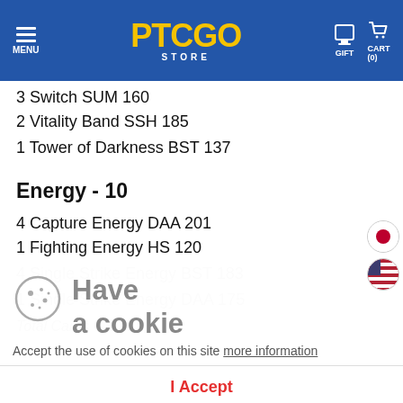PTCGO STORE — MENU | GIFT | CART (0)
3 Switch SUM 160
2 Vitality Band SSH 185
1 Tower of Darkness BST 137
Energy - 10
4 Capture Energy DAA 201
1 Fighting Energy HS 120
4 Single Strike Energy BST 183
1 Single Strike Energy DAA 175
Total Cards - 60
Accept the use of cookies on this site more information
I Accept